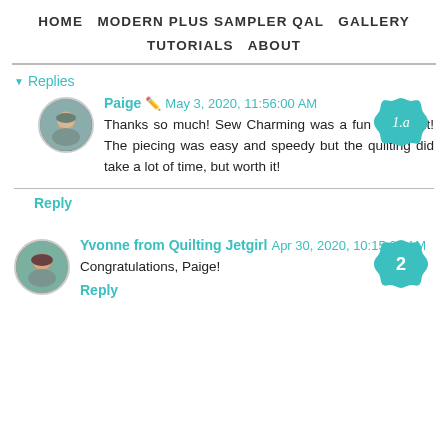HOME  MODERN PLUS SAMPLER QAL  GALLERY  TUTORIALS  ABOUT
▾ Replies
Paige 🖊 May 3, 2020, 11:56:00 AM
Thanks so much! Sew Charming was a fun little quilt! The piecing was easy and speedy but the quilting did take a lot of time, but worth it!
Reply
Yvonne from Quilting Jetgirl Apr 30, 2020, 10:15:00 AM
Congratulations, Paige!
Reply